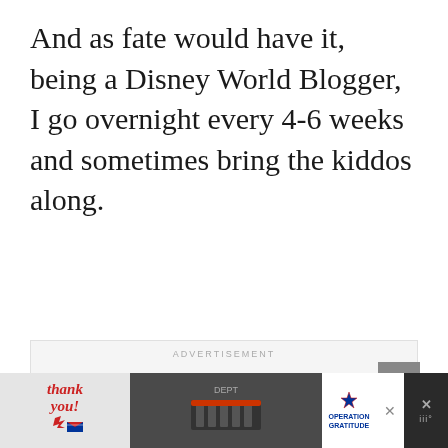And as fate would have it, being a Disney World Blogger, I go overnight every 4-6 weeks and sometimes bring the kiddos along.
[Figure (screenshot): Advertisement box with 'ADVERTISEMENT' label at top. Contains Big Brothers Big Sisters logo on left, and a black banner ad reading 'EMPOWER A KID IN YOUR COMMUNITY TODAY.' with a green 'Learn How' button. Close X button top right of banner.]
[Figure (screenshot): Bottom banner advertisement. Left side shows 'Thank you!' handwritten text with an American flag star graphic. Center shows a photo of firefighters/military personnel. Right side shows 'Operation Gratitude' logo with star. Close X button. Additional dark section with weather/app icons.]